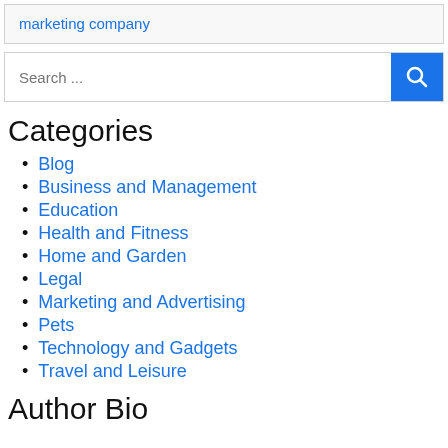marketing company
Search ...
Categories
Blog
Business and Management
Education
Health and Fitness
Home and Garden
Legal
Marketing and Advertising
Pets
Technology and Gadgets
Travel and Leisure
Author Bio